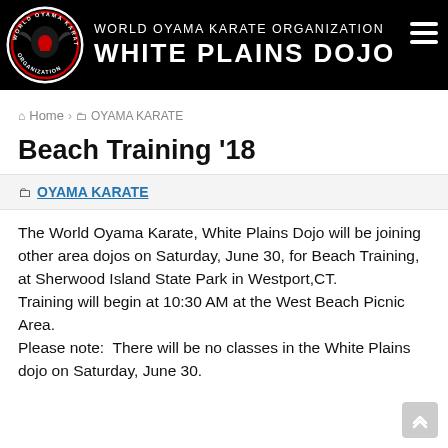[Figure (logo): World Oyama Karate Organization White Plains Dojo header banner with circular logo on black background]
Home > OYAMA KARATE
Beach Training '18
OYAMA KARATE
The World Oyama Karate, White Plains Dojo will be joining other area dojos on Saturday, June 30, for Beach Training, at Sherwood Island State Park in Westport,CT. Training will begin at 10:30 AM at the West Beach Picnic Area. Please note:  There will be no classes in the White Plains dojo on Saturday, June 30.